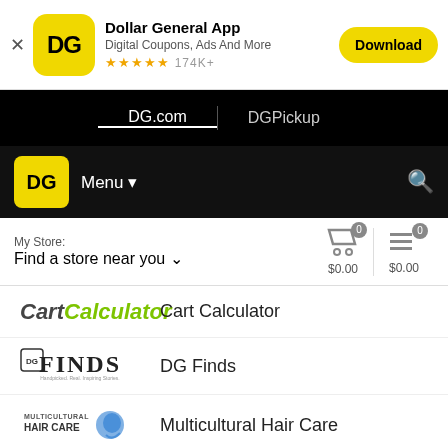[Figure (screenshot): Dollar General App advertisement banner with DG yellow icon, app name, rating stars, and Download button]
DG.com | DGPickup
DG Menu ▾
My Store: Find a store near you ▾  $0.00  $0.00
Cart Calculator
DG Finds
Multicultural Hair Care
DG GO
About Dollar General